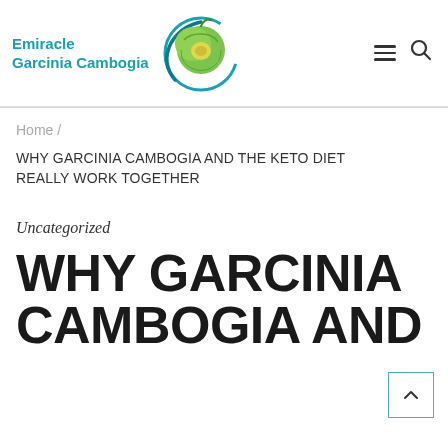[Figure (logo): Emiracle Garcinia Cambogia logo with teal text and circular icon featuring a garcinia cambogia fruit]
Home / WHY GARCINIA CAMBOGIA AND THE KETO DIET REALLY WORK TOGETHER
Uncategorized
WHY GARCINIA CAMBOGIA AND